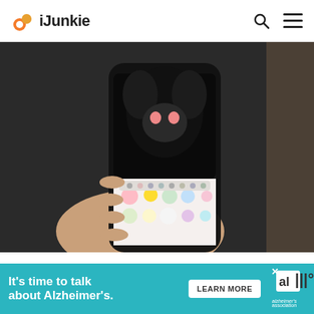iJunkie
[Figure (photo): Hand holding a smartphone displaying a face-swap/avatar camera app with emoji sticker overlays on a dark background]
IPHONE APPS
May 5, 2018
10 Best Fun Photo Editing iPhone Apps
Khamosh Pathak
[Figure (infographic): Advertisement banner: It's time to talk about Alzheimer's. Learn More. Alzheimer's association logo.]